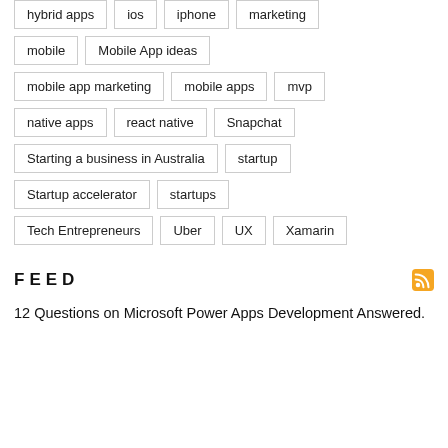hybrid apps
ios
iphone
marketing
mobile
Mobile App ideas
mobile app marketing
mobile apps
mvp
native apps
react native
Snapchat
Starting a business in Australia
startup
Startup accelerator
startups
Tech Entrepreneurs
Uber
UX
Xamarin
FEED
12 Questions on Microsoft Power Apps Development Answered.